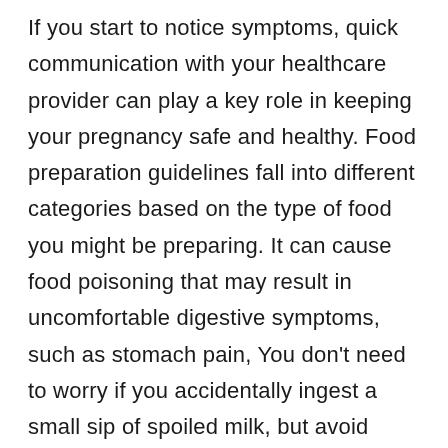If you start to notice symptoms, quick communication with your healthcare provider can play a key role in keeping your pregnancy safe and healthy. Food preparation guidelines fall into different categories based on the type of food you might be preparing. It can cause food poisoning that may result in uncomfortable digestive symptoms, such as stomach pain, You don't need to worry if you accidentally ingest a small sip of spoiled milk, but avoid drinking it in large — or even moderate — quantities.Though you shouldn't drink spoiled milk, it's far from useless.If your milk is very old and has started to curdle,